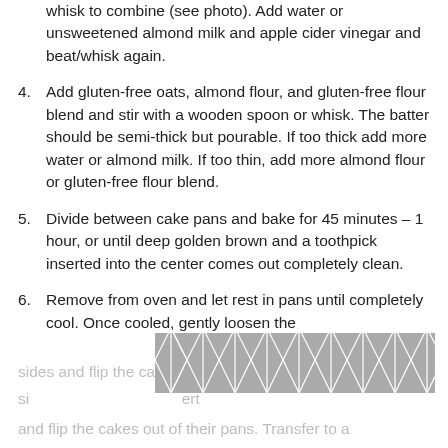whisk to combine (see photo). Add water or unsweetened almond milk and apple cider vinegar and beat/whisk again.
4. Add gluten-free oats, almond flour, and gluten-free flour blend and stir with a wooden spoon or whisk. The batter should be semi-thick but pourable. If too thick add more water or almond milk. If too thin, add more almond flour or gluten-free flour blend.
5. Divide between cake pans and bake for 45 minutes – 1 hour, or until deep golden brown and a toothpick inserted into the center comes out completely clean.
6. Remove from oven and let rest in pans until completely cool. Once cooled, gently loosen the sides and flip the cakes out of their pans. Transfer to a
[Figure (illustration): A decorative geometric pattern watermark/overlay covering the bottom portion of the page, obscuring some text.]